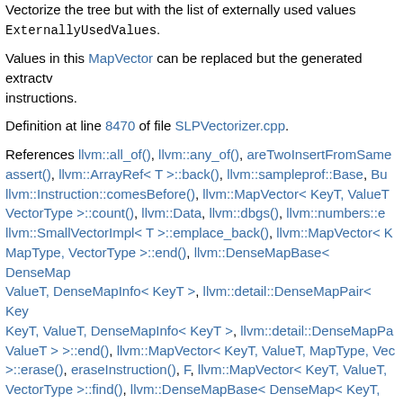Vectorize the tree but with the list of externally used values ExternallyUsedValues.
Values in this MapVector can be replaced but the generated extractv instructions.
Definition at line 8470 of file SLPVectorizer.cpp.
References llvm::all_of(), llvm::any_of(), areTwoInsertFromSame assert(), llvm::ArrayRef< T >::back(), llvm::sampleprof::Base, Bu llvm::Instruction::comesBefore(), llvm::MapVector< KeyT, ValueT VectorType >::count(), llvm::Data, llvm::dbgs(), llvm::numbers::e llvm::SmallVectorImpl< T >::emplace_back(), llvm::MapVector< K MapType, VectorType >::end(), llvm::DenseMapBase< DenseMap ValueT, DenseMapInfo< KeyT >, llvm::detail::DenseMapPair< Key KeyT, ValueT, DenseMapInfo< KeyT >, llvm::detail::DenseMapPa ValueT > >::end(), llvm::MapVector< KeyT, ValueT, MapType, Vec >::erase(), eraseInstruction(), F, llvm::MapVector< KeyT, ValueT, VectorType >::find(), llvm::DenseMapBase< DenseMap< KeyT, Va DenseMapInfo< KeyT >, llvm::detail::DenseMapPair< KeyT, Value ValueT, DenseMapInfo< KeyT >, llvm::detail::DenseMapPair< Key >::find(), llvm::find_if(), llvm::ArrayRef< T >::front(), get,